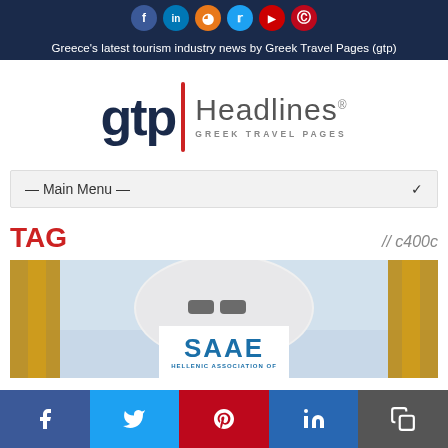Greece's latest tourism industry news by Greek Travel Pages (gtp)
[Figure (logo): GTP Headlines - Greek Travel Pages logo with red vertical bar divider]
— Main Menu —
TAG // c400c
[Figure (photo): Airplane nose close-up with golden gate elements, SAAE Hellenic Association of overlay logo]
Social sharing bar: Facebook, Twitter, Pinterest, LinkedIn, Copy